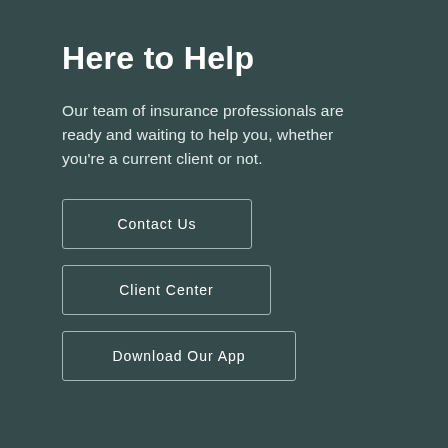Here to Help
Our team of insurance professionals are ready and waiting to help you, whether you’re a current client or not.
Contact Us
Client Center
Download Our App